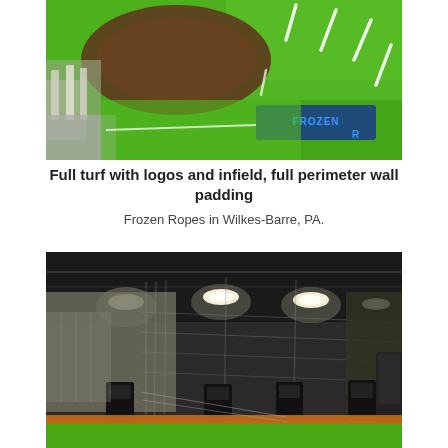[Figure (photo): Aerial view of an indoor baseball/softball facility showing bright green artificial turf with white field markings, a dark brown infield dirt area, and a 'Frozen Ropes' logo visible in the lower right corner. Metal poles and aluminum materials visible on the left.]
Full turf with logos and infield, full perimeter wall padding
Frozen Ropes in Wilkes-Barre, PA.
[Figure (photo): Interior view of an indoor batting cage facility with bright LED overhead lights, black netting dividers creating multiple batting lanes, padded black column bases, green artificial turf floor with orange/red dirt strip, and a dark industrial ceiling structure.]